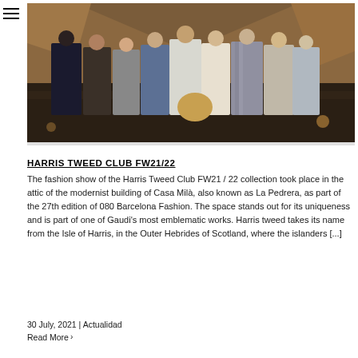[Figure (photo): Group photo of people standing together in a modernist interior space with wooden architectural elements and warm lighting. The group wears various fashion outfits including coats, blazers, and casual wear.]
HARRIS TWEED CLUB FW21/22
The fashion show of the Harris Tweed Club FW21 / 22 collection took place in the attic of the modernist building of Casa Milà, also known as La Pedrera, as part of the 27th edition of 080 Barcelona Fashion. The space stands out for its uniqueness and is part of one of Gaudi's most emblematic works. Harris tweed takes its name from the Isle of Harris, in the Outer Hebrides of Scotland, where the islanders [...]
30 July, 2021 | Actualidad
Read More ›